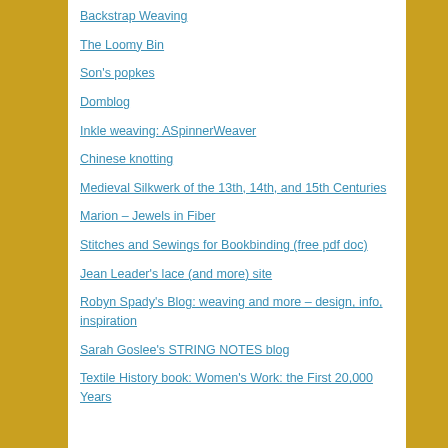Backstrap Weaving
The Loomy Bin
Son's popkes
Domblog
Inkle weaving: ASpinnerWeaver
Chinese knotting
Medieval Silkwerk of the 13th, 14th, and 15th Centuries
Marion – Jewels in Fiber
Stitches and Sewings for Bookbinding (free pdf doc)
Jean Leader's lace (and more) site
Robyn Spady's Blog: weaving and more – design, info, inspiration
Sarah Goslee's STRING NOTES blog
Textile History book: Women's Work: the First 20,000 Years